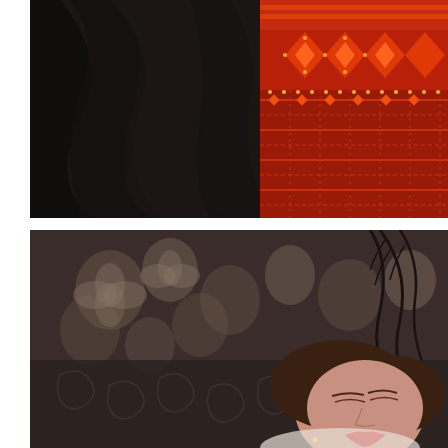[Figure (photo): Top photo: dark dramatic image showing draped black fabric on the left and ornate red/orange patterned textile (carpet or fabric) on the right with decorative geometric and floral motifs]
[Figure (photo): Bottom photo: a woman (Tina Aumont) lying down with dark floral background, wearing patterned dark fabric, red lipstick, with dark short hair. Text 'TINA AUMONT' overlaid in bold yellow on the left side.]